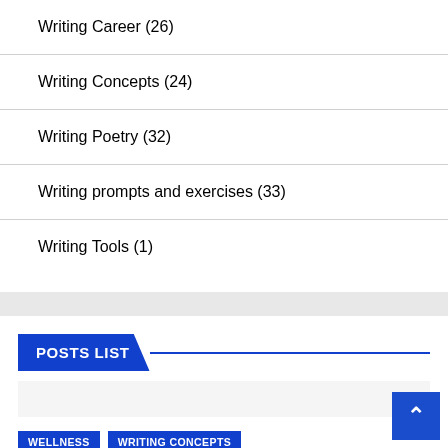Writing Career (26)
Writing Concepts (24)
Writing Poetry (32)
Writing prompts and exercises (33)
Writing Tools (1)
POSTS LIST
WELLNESS   WRITING CONCEPTS